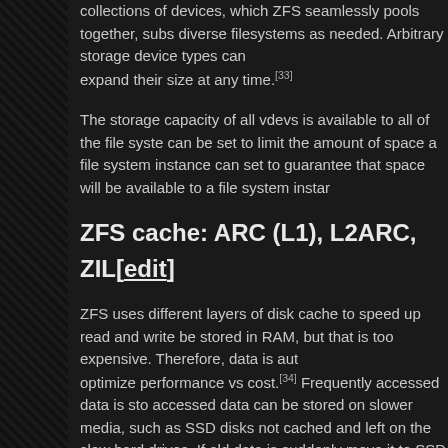collections of devices, which ZFS seamlessly pools together, subs diverse filesystems as needed. Arbitrary storage device types can expand their size at any time.[33]
The storage capacity of all vdevs is available to all of the file syste can be set to limit the amount of space a file system instance can set to guarantee that space will be available to a file system instar
ZFS cache: ARC (L1), L2ARC, ZIL[edit]
ZFS uses different layers of disk cache to speed up read and write be stored in RAM, but that is too expensive. Therefore, data is aut optimize performance vs cost.[34] Frequently accessed data is sto accessed data can be stored on slower media, such as SSD disks not cached and left on the slow hard drives. If old data is suddenly move it to SSD disks or to RAM.
The first level of disk cache is RAM, which uses a variant of the AR level 1 CPU cache. RAM will always be used for caching, thus this claims that ZFS servers must have huge amounts of RAM, but tha of the desire to have large ARC disk caches. The ARC is very clev